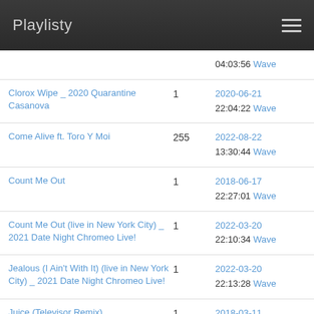Playlisty
04:03:56 Wave
Clorox Wipe _ 2020 Quarantine Casanova | 1 | 2020-06-21 22:04:22 Wave
Come Alive ft. Toro Y Moi | 255 | 2022-08-22 13:30:44 Wave
Count Me Out | 1 | 2018-06-17 22:27:01 Wave
Count Me Out (live in New York City) _ 2021 Date Night Chromeo Live! | 1 | 2022-03-20 22:10:34 Wave
Jealous (I Ain't With It) (live in New York City) _ 2021 Date Night Chromeo Live! | 1 | 2022-03-20 22:13:28 Wave
Juice (Televisor Remix) | 1 | 2018-03-11 23:30:02 Wave